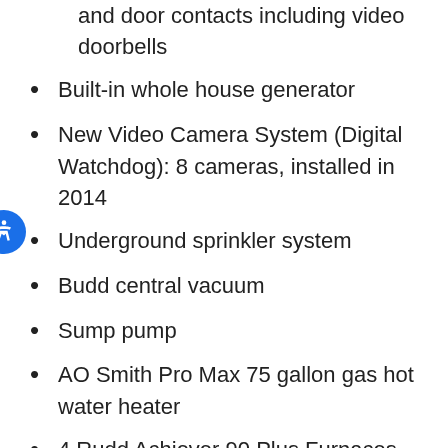and door contacts including video doorbells
Built-in whole house generator
New Video Camera System (Digital Watchdog): 8 cameras, installed in 2014
Underground sprinkler system
Budd central vacuum
Sump pump
AO Smith Pro Max 75 gallon gas hot water heater
4 Rudd Achiever 90 Plus Furnaces with Honeywell air cleaner and humidity controls
2 Car attached garage with electric